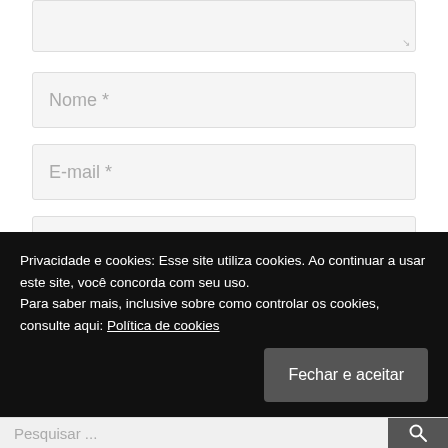[Figure (screenshot): Textarea input box (top of page, partially visible) with resize handle in bottom-right corner]
Nome *
E-mail *
Site
Comentário do post
Privacidade e cookies: Esse site utiliza cookies. Ao continuar a usar este site, você concorda com seu uso.
Para saber mais, inclusive sobre como controlar os cookies, consulte aqui: Política de cookies
Fechar e aceitar
Pesquisar ...